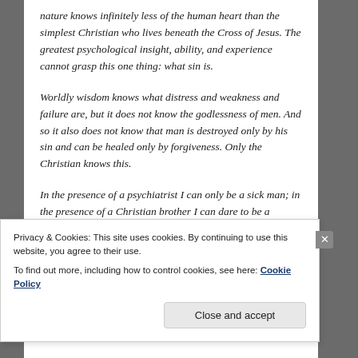nature knows infinitely less of the human heart than the simplest Christian who lives beneath the Cross of Jesus. The greatest psychological insight, ability, and experience cannot grasp this one thing: what sin is.
Worldly wisdom knows what distress and weakness and failure are, but it does not know the godlessness of men. And so it also does not know that man is destroyed only by his sin and can be healed only by forgiveness. Only the Christian knows this.
In the presence of a psychiatrist I can only be a sick man; in the presence of a Christian brother I can dare to be a sinner."
Privacy & Cookies: This site uses cookies. By continuing to use this website, you agree to their use.
To find out more, including how to control cookies, see here: Cookie Policy